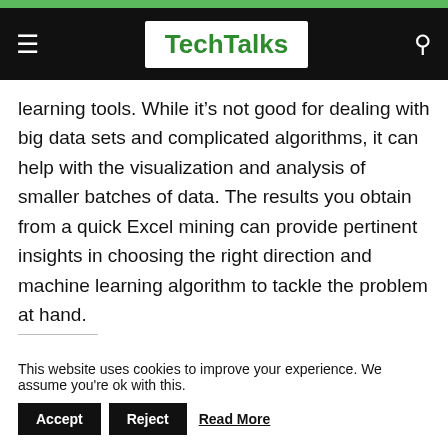TechTalks
learning tools. While it’s not good for dealing with big data sets and complicated algorithms, it can help with the visualization and analysis of smaller batches of data. The results you obtain from a quick Excel mining can provide pertinent insights in choosing the right direction and machine learning algorithm to tackle the problem at hand.
Like this:
Loading...
This website uses cookies to improve your experience. We assume you’re ok with this.  Accept  Reject  Read More